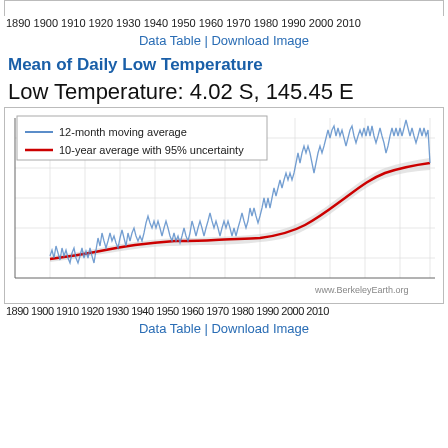1890 1900 1910 1920 1930 1940 1950 1960 1970 1980 1990 2000 2010
Data Table | Download Image
Mean of Daily Low Temperature
Low Temperature: 4.02 S, 145.45 E
[Figure (continuous-plot): Temperature anomaly line chart showing 12-month moving average (blue line) and 10-year average with 95% uncertainty band (red line with gray shading) from 1890 to ~2013. The trend shows warming over time, with values rising from the late 1800s baseline toward higher temperatures in recent decades.]
1890 1900 1910 1920 1930 1940 1950 1960 1970 1980 1990 2000 2010
Data Table | Download Image